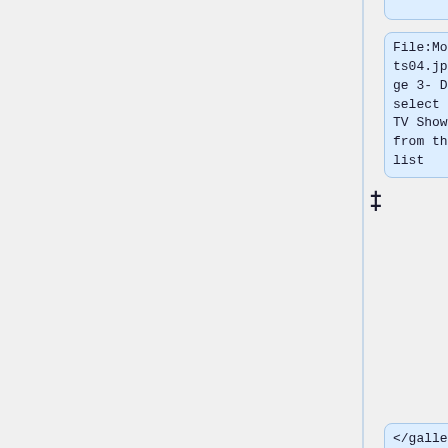File:MovieSets04.jpg|Image 3- De-select the TV Show(s) from the list
</gallery>
== nfo Files ==
Remove the following XML tag from the